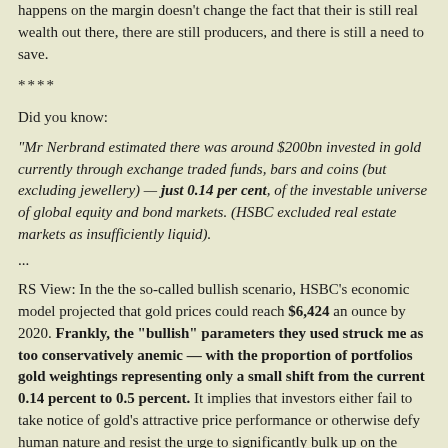happens on the margin doesn't change the fact that their is still real wealth out there, there are still producers, and there is still a need to save.
****
Did you know:
"Mr Nerbrand estimated there was around $200bn invested in gold currently through exchange traded funds, bars and coins (but excluding jewellery) — just 0.14 per cent, of the investable universe of global equity and bond markets. (HSBC excluded real estate markets as insufficiently liquid).
...
RS View: In the the so-called bullish scenario, HSBC's economic model projected that gold prices could reach $6,424 an ounce by 2020. Frankly, the "bullish" parameters they used struck me as too conservatively anemic — with the proportion of portfolios gold weightings representing only a small shift from the current 0.14 percent to 0.5 percent. It implies that investors either fail to take notice of gold's attractive price performance or otherwise defy human nature and resist the urge to significantly bulk up on the winning asset."